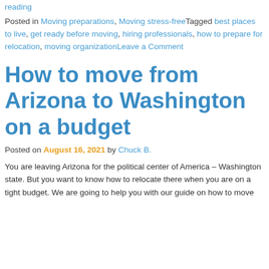reading
Posted in Moving preparations, Moving stress-free Tagged best places to live, get ready before moving, hiring professionals, how to prepare for relocation, moving organization Leave a Comment
How to move from Arizona to Washington on a budget
Posted on August 16, 2021 by Chuck B.
You are leaving Arizona for the political center of America – Washington state. But you want to know how to relocate there when you are on a tight budget. We are going to help you with our guide on how to move